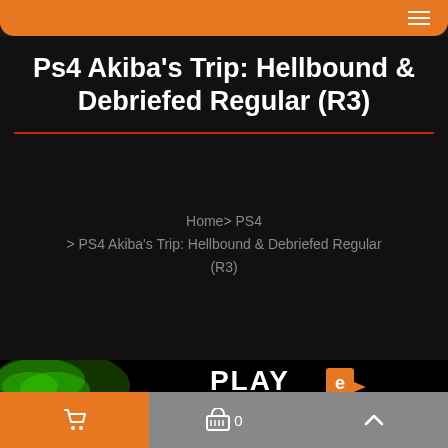Ps4 Akiba's Trip: Hellbound & Debriefed Regular (R3)
Home> PS4 > PS4 Akiba's Trip: Hellbound & Debriefed Regular (R3)
[Figure (logo): PLAY-e logo with green swirl background and blue banner at bottom]
Shopping cart | Basket 0 | Up arrow